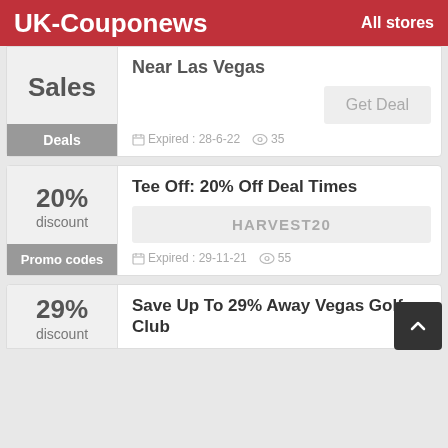UK-Couponews   All stores
Sales
Deals
Near Las Vegas
Get Deal
Expired : 28-6-22   35
20% discount
Promo codes
Tee Off: 20% Off Deal Times
HARVEST20
Expired : 29-11-21   55
29% discount
Save Up To 29% Away Vegas Golf Club